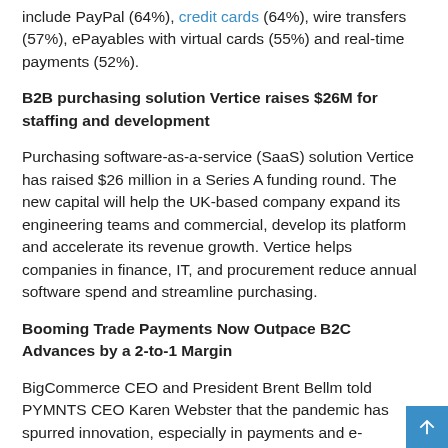include PayPal (64%), credit cards (64%), wire transfers (57%), ePayables with virtual cards (55%) and real-time payments (52%).
B2B purchasing solution Vertice raises $26M for staffing and development
Purchasing software-as-a-service (SaaS) solution Vertice has raised $26 million in a Series A funding round. The new capital will help the UK-based company expand its engineering teams and commercial, develop its platform and accelerate its revenue growth. Vertice helps companies in finance, IT, and procurement reduce annual software spend and streamline purchasing.
Booming Trade Payments Now Outpace B2C Advances by a 2-to-1 Margin
BigCommerce CEO and President Brent Bellm told PYMNTS CEO Karen Webster that the pandemic has spurred innovation, especially in payments and e-commerce. Over the past five